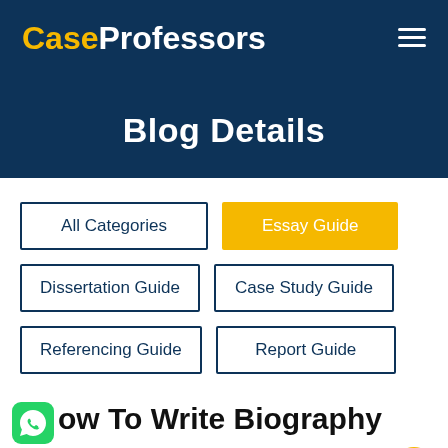CaseProfessors
Blog Details
All Categories
Essay Guide
Dissertation Guide
Case Study Guide
Referencing Guide
Report Guide
How To Write Biography Essay?